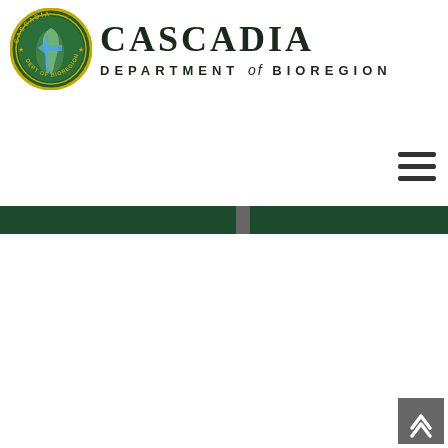[Figure (logo): Cascadia Department of Bioregion logo: circular seal with map of Cascadia region on the left, and stylized text 'CASCADIA DEPARTMENT of BIOREGION' on the right with nature imagery embedded in the letters]
[Figure (other): Hamburger menu icon (three horizontal lines) in upper right area]
[Figure (other): Dark green navigation banner bar spanning the full width]
[Figure (other): Back to top button (dark gray square with upward double chevron arrow) in lower right corner]